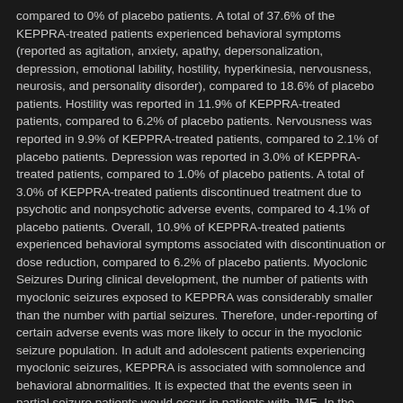compared to 0% of placebo patients. A total of 37.6% of the KEPPRA-treated patients experienced behavioral symptoms (reported as agitation, anxiety, apathy, depersonalization, depression, emotional lability, hostility, hyperkinesia, nervousness, neurosis, and personality disorder), compared to 18.6% of placebo patients. Hostility was reported in 11.9% of KEPPRA-treated patients, compared to 6.2% of placebo patients. Nervousness was reported in 9.9% of KEPPRA-treated patients, compared to 2.1% of placebo patients. Depression was reported in 3.0% of KEPPRA-treated patients, compared to 1.0% of placebo patients. A total of 3.0% of KEPPRA-treated patients discontinued treatment due to psychotic and nonpsychotic adverse events, compared to 4.1% of placebo patients. Overall, 10.9% of KEPPRA-treated patients experienced behavioral symptoms associated with discontinuation or dose reduction, compared to 6.2% of placebo patients. Myoclonic Seizures During clinical development, the number of patients with myoclonic seizures exposed to KEPPRA was considerably smaller than the number with partial seizures. Therefore, under-reporting of certain adverse events was more likely to occur in the myoclonic seizure population. In adult and adolescent patients experiencing myoclonic seizures, KEPPRA is associated with somnolence and behavioral abnormalities. It is expected that the events seen in partial seizure patients would occur in patients with JME. In the double-blind, controlled trial in adults and adolescents with juvenile myoclonic epilepsy experiencing myoclonic seizures, 11.7% of KEPPRA-